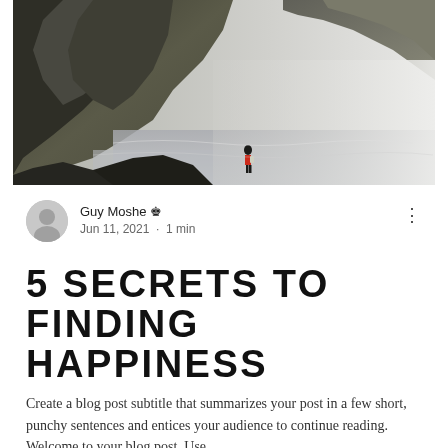[Figure (photo): A person in a red jacket standing on dark rocky cliffs by the ocean, with dramatic steep cliff faces in the background and misty sea atmosphere]
Guy Moshe 👑
Jun 11, 2021 · 1 min
5 SECRETS TO FINDING HAPPINESS
Create a blog post subtitle that summarizes your post in a few short, punchy sentences and entices your audience to continue reading. Welcome to your blog post. Use